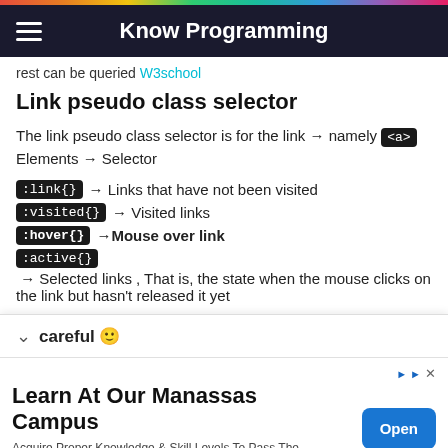Know Programming
rest can be queried W3school
Link pseudo class selector
The link pseudo class selector is for the link → namely <a> Elements → Selector
:link{} → Links that have not been visited
:visited{} → Visited links
:hover{} → Mouse over link
:active{} → Selected links , That is, the state when the mouse clicks on the link but hasn't released it yet
careful 🙂
Learn At Our Manassas Campus
Acquire Proper Knowledge & Skill Levels To Pass The A&P License Test. Get More Info Today. my.fixjets.com